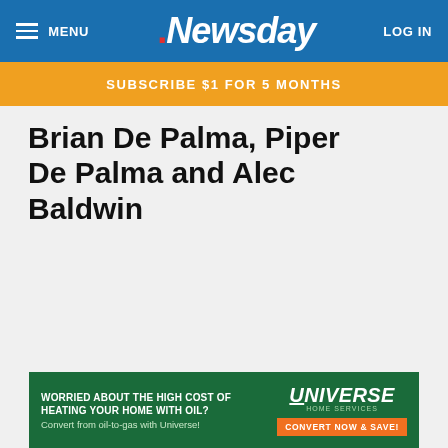MENU | Newsday | LOG IN
SUBSCRIBE $1 FOR 5 MONTHS
Brian De Palma, Piper De Palma and Alec Baldwin
[Figure (screenshot): Advertisement banner: WORRIED ABOUT THE HIGH COST OF HEATING YOUR HOME WITH OIL? Convert from oil-to-gas with Universe! Universe Home Services logo. CONVERT NOW & SAVE! button.]